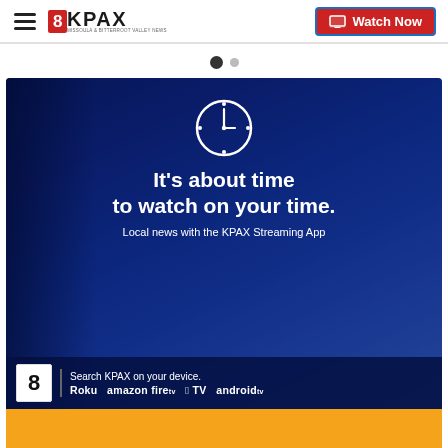8KPAX — Watch Now
[Figure (screenshot): Carousel navigation dots — one filled dark, one smaller grey]
[Figure (infographic): KPAX Streaming App promotional banner with clock icon, text 'It's about time to watch on your time. Local news with the KPAX Streaming App', and platform icons for Roku, Amazon Fire TV, Apple TV, Android TV at the bottom. Bottom overlaid with orange bar.]